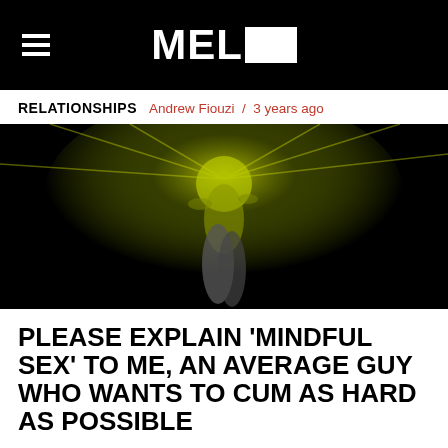MEL
RELATIONSHIPS  Andrew Fiouzi  /  3 years ago
[Figure (photo): Dark artistic photo of a person illuminated by yellow-green light, appearing to be dancing or stretching dramatically against a black background]
PLEASE EXPLAIN ‘MINDFUL SEX’ TO ME, AN AVERAGE GUY WHO WANTS TO CUM AS HARD AS POSSIBLE
Chill out. No, really – if you want this to work, you